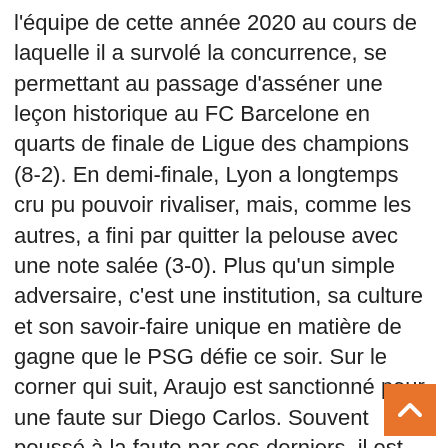l'équipe de cette année 2020 au cours de laquelle il a survolé la concurrence, se permettant au passage d'asséner une leçon historique au FC Barcelone en quarts de finale de Ligue des champions (8-2). En demi-finale, Lyon a longtemps cru pu pouvoir rivaliser, mais, comme les autres, a fini par quitter la pelouse avec une note salée (3-0). Plus qu'un simple adversaire, c'est une institution, sa culture et son savoir-faire unique en matière de gagne que le PSG défie ce soir. Sur le corner qui suit, Araujo est sanctionné pour une faute sur Diego Carlos. Souvent poussé à la faute par ces derniers, il est averti pour un geste d'antijeu sur l'international allemand (28e). Fébrile, il provoque un pénalty stupide (67e) alors que le Bayern avait fait le plus dur. Raphaël Guerreiro est remplacé par Achraf Hakimi. Concernant Omar Richards, courtisé par Nottingham Forest, Munich ouvrira la porte en cas d'offre comprise entre 10 et 12 M€. Quand Bayern Munich perd 0-1 à domicile, il gagne 40% de leurs matches. 22 min : Le Bayern réplique